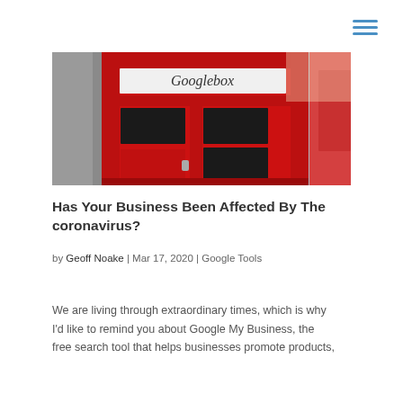[Figure (photo): Photo of a red British telephone box with 'Googlebox' written on the sign panel above the door, taken from a low angle]
Has Your Business Been Affected By The coronavirus?
by Geoff Noake | Mar 17, 2020 | Google Tools
We are living through extraordinary times, which is why I'd like to remind you about Google My Business, the free search tool that helps businesses promote products,